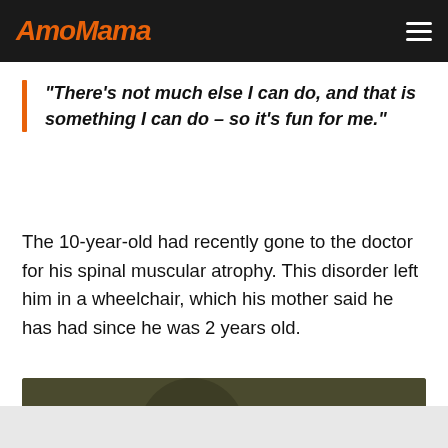AmoMama
“There’s not much else I can do, and that is something I can do – so it’s fun for me.”
The 10-year-old had recently gone to the doctor for his spinal muscular atrophy. This disorder left him in a wheelchair, which his mother said he has had since he was 2 years old.
[Figure (photo): Two men in olive/dark green t-shirts; the foreground man has short dark hair and blue eyes, looking at camera; the background man is slightly taller and partially visible behind him.]